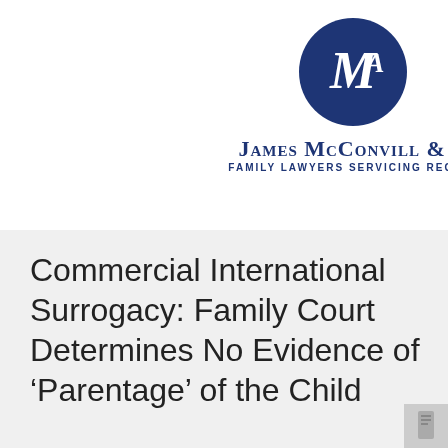[Figure (logo): James McConvill & Associates logo: dark navy blue circle with white stylized M/A monogram, with firm name 'James McConvill & A' and tagline 'Family Lawyers Servicing Region' below]
Commercial International Surrogacy: Family Court Determines No Evidence of ‘Parentage’ of the Child